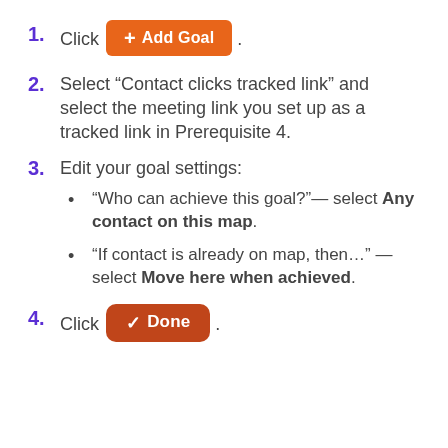1. Click + Add Goal .
2. Select “Contact clicks tracked link” and select the meeting link you set up as a tracked link in Prerequisite 4.
3. Edit your goal settings:
• “Who can achieve this goal?”— select Any contact on this map.
• “If contact is already on map, then…” — select Move here when achieved.
4. Click Done .